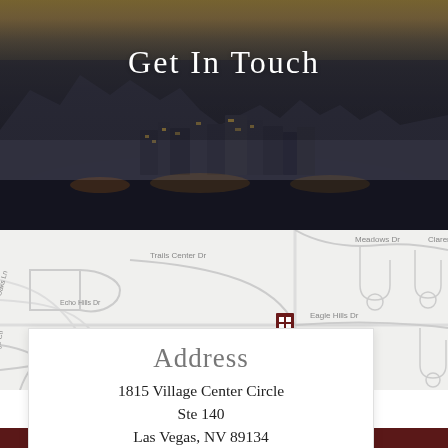[Figure (photo): Aerial cityscape photo of Las Vegas with mountains in background, dusk/sunset lighting with dark overlay]
Get In Touch
[Figure (map): Street map showing location near Hills Center Dr and Village Center area in Las Vegas, with map marker]
Address
1815 Village Center Circle
Ste 140
Las Vegas, NV 89134